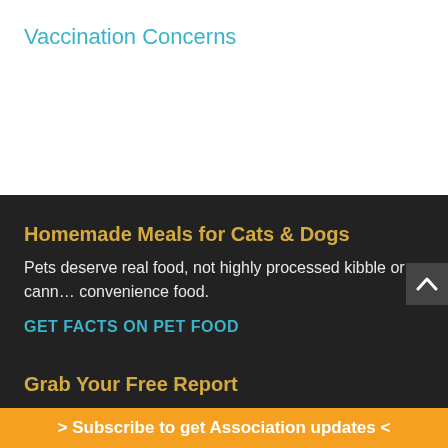Vaccination Concerns
Homemade Meals for Cats & Dogs
Pets deserve real food, not highly processed kibble or cann… convenience food.
GET FACTS ON PET FOOD
Grab Your Free Report
> Subscribe to get Association updates <